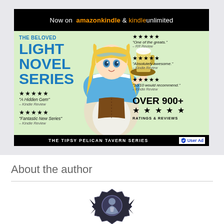[Figure (illustration): Advertisement for 'The Tipsy Pelican Tavern Series' light novel, featuring an anime-style illustration of a blonde barmaid holding a beer mug, with 5-star reviews and 'Now on Amazon Kindle & Kindle Unlimited' text. Over 900+ ratings. Bottom bar reads 'THE TIPSY PELICAN TAVERN SERIES' with a 'User Ad' badge.]
About the author
[Figure (illustration): Partially visible author avatar/icon — a dark fantasy-style emblem or character icon visible at the bottom of the page.]